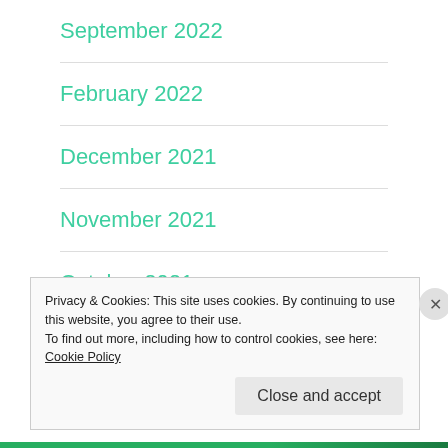September 2022
February 2022
December 2021
November 2021
October 2021
September 2021
Privacy & Cookies: This site uses cookies. By continuing to use this website, you agree to their use.
To find out more, including how to control cookies, see here: Cookie Policy
Close and accept